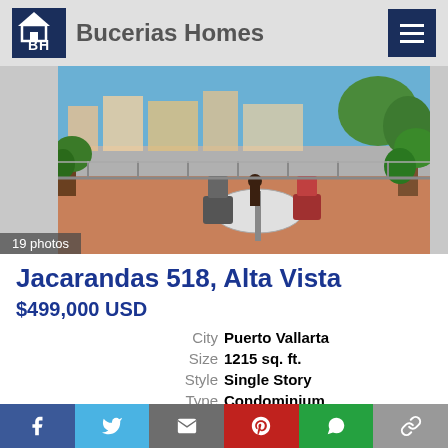Bucerias Homes
[Figure (photo): Rooftop terrace with outdoor dining table and chairs, potted plants, and city/ocean view in background. Shows '19 photos' overlay.]
Jacarandas 518, Alta Vista
$499,000 USD
| City | Puerto Vallarta |
| Size | 1215 sq. ft. |
| Style | Single Story |
| Type | Condominium |
| Bedrooms | 2 |
Social share bar: Facebook, Twitter, Email, Pinterest, WhatsApp, Link